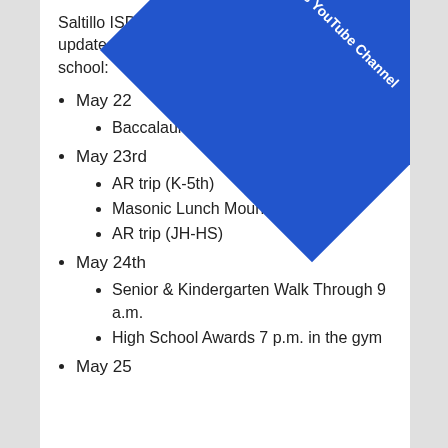Saltillo ISD released the following updated schedule for the last week of school:
May 22
Baccalaureate Saltillo Baptist 6 p.m.
May 23rd
AR trip (K-5th)
Masonic Lunch Mount Vernon
AR trip (JH-HS)
May 24th
Senior & Kindergarten Walk Through 9 a.m.
High School Awards 7 p.m. in the gym
May 25
[Figure (other): Blue diagonal banner overlay in top-right corner with text 'KSST's YouTube Channel']